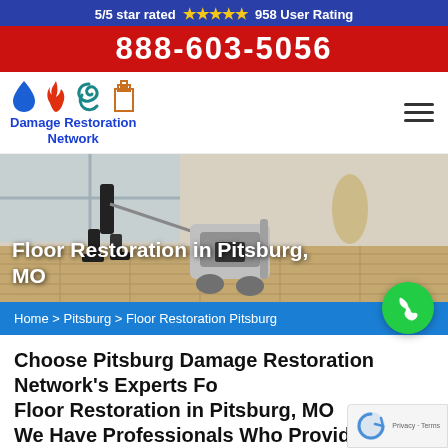5/5 star rated ★★★★★ 958 User Rating
888-603-5056
[Figure (logo): Damage Restoration Network logo with water drop, fire, hurricane, and building icons]
[Figure (photo): Worker using floor sanding machine on hardwood floor]
Floor Restoration in Pitsburg, MO
Home > Pitsburg > Floor Restoration Pitsburg
Choose Pitsburg Damage Restoration Network's Experts For Floor Restoration in Pitsburg, MO We Have Professionals Who Provide